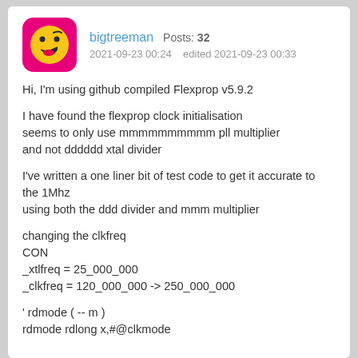[Figure (illustration): Yellow smiley face emoji avatar on pink/magenta rounded square background]
bigtreeman  Posts: 32
2021-09-23 00:24   edited 2021-09-23 00:33
Hi, I'm using github compiled Flexprop v5.9.2
I have found the flexprop clock initialisation seems to only use mmmmmmmmmm pll multiplier and not dddddd xtal divider
I've written a one liner bit of test code to get it accurate to the 1Mhz
using both the ddd divider and mmm multiplier
changing the clkfreq
CON
_xtlfreq = 25_000_000
_clkfreq = 120_000_000 -> 250_000_000
' rdmode ( -- m )
rdmode rdlong x,#@clkmode